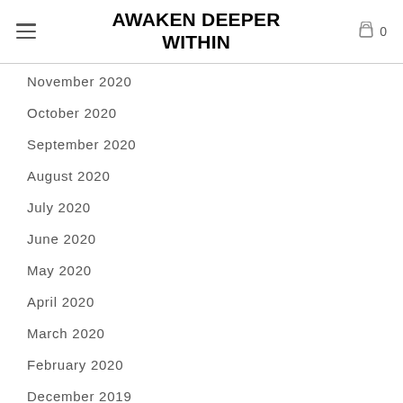AWAKEN DEEPER WITHIN
November 2020
October 2020
September 2020
August 2020
July 2020
June 2020
May 2020
April 2020
March 2020
February 2020
December 2019
October 2019